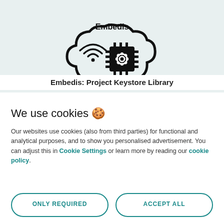[Figure (logo): Embedis logo: cloud shape outline with wifi/radio waves on left and a microchip with gear icon in center, 'Embedis' text above]
Embedis: Project Keystore Library
We use cookies 🍪
Our websites use cookies (also from third parties) for functional and analytical purposes, and to show you personalised advertisement. You can adjust this in Cookie Settings or learn more by reading our cookie policy.